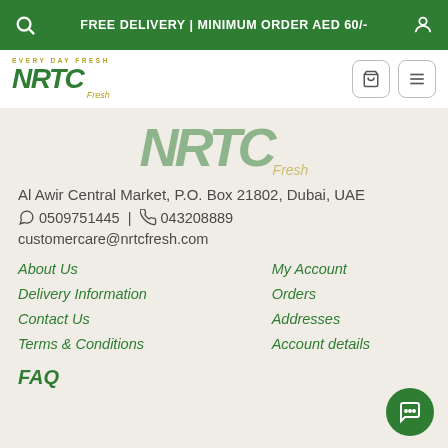FREE DELIVERY | MINIMUM ORDER AED 60/-
[Figure (logo): NRTC Fresh logo with 'Every Day Fresh' tagline]
[Figure (logo): Large NRTC Fresh watermark logo]
Al Awir Central Market, P.O. Box 21802, Dubai, UAE
0509751445 | 043208889
customercare@nrtcfresh.com
About Us
Delivery Information
Contact Us
Terms & Conditions
My Account
Orders
Addresses
Account details
FAQ